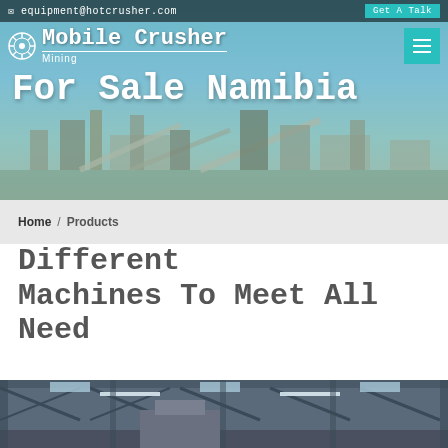equipment@hotcrusher.com   Get A Talk
[Figure (screenshot): Hero banner showing industrial crushing plant/conveyor equipment against blue sky background, with logo 'Mobile Crusher Mining' and hamburger menu button]
Mobile Crusher
For Sale Namibia
Home / Products
Different Machines To Meet All Need
[Figure (photo): Interior of industrial factory/warehouse with steel structure roof, machinery visible at bottom]